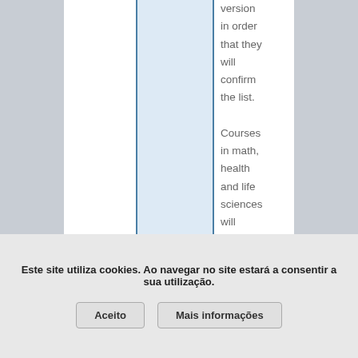version in order that they will confirm the list.
Courses in math, health and life sciences will establish just the sort of
Este site utiliza cookies. Ao navegar no site estará a consentir a sua utilização.